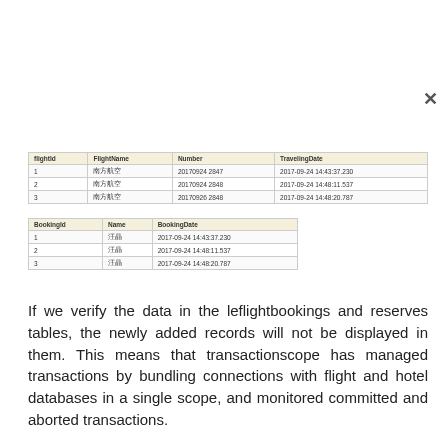| flightId | FlightName | Number | TravelingDate |
| --- | --- | --- | --- |
| 1 | 南方航空 | 20170924 2847 | 2017-09-24 14:43:37.230 |
| 2 | 南方航空 | 20170924 2848 | 2017-09-24 14:48:11.537 |
| 3 | 南方航空 | 20170926 2848 | 2017-09-24 14:48:20.787 |
| BookingId | Name | BookingDate |
| --- | --- | --- |
| 1 | 汪晶 | 2017-09-24 14:43:37.230 |
| 2 | 汪晶 | 2017-09-24 14:48:11.537 |
| 3 | 汪晶 | 2017-09-24 14:48:20.787 |
If we verify the data in the leflightbookings and reserves tables, the newly added records will not be displayed in them. This means that transactionscope has managed transactions by bundling connections with flight and hotel databases in a single scope, and monitored committed and aborted transactions.